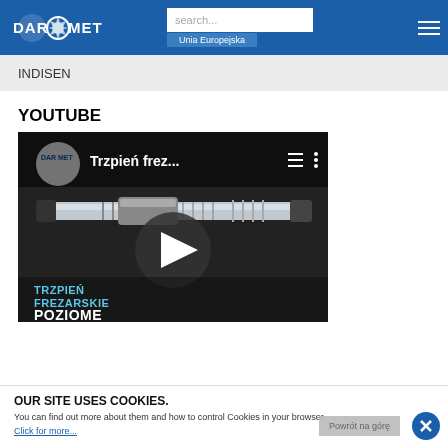DAROMET - Unia Europejska
INDISEN
YOUTUBE
[Figure (screenshot): YouTube video thumbnail showing a milling arbor (trzpień frezarski poziome) with Daromet logo, play button overlay, and text 'TRZPIEŃ FREZARSKIE POZIOME'. Video title: 'Trzpień frez...']
OUR SITE USES COOKIES.
You can find out more about them and how to control Cookies in your browser.
Click for more...